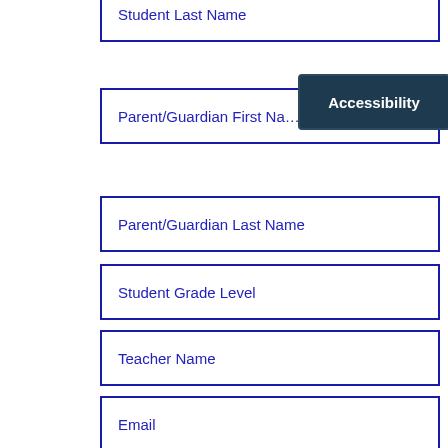Student Last Name
Parent/Guardian First Na…
Accessibility
Parent/Guardian Last Name
Student Grade Level
Teacher Name
Email
Phone
Type of device
Let us know … need help